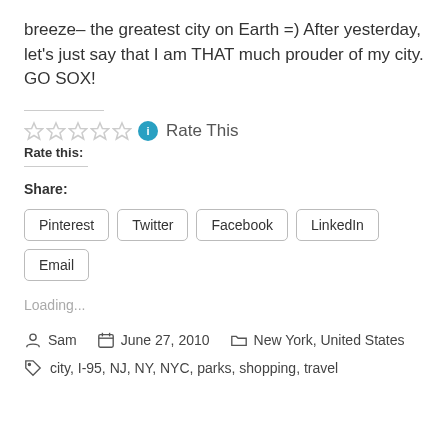breeze– the greatest city on Earth =) After yesterday, let's just say that I am THAT much prouder of my city. GO SOX!
Rate this: Rate This
Share:
Pinterest  Twitter  Facebook  LinkedIn  Email
Loading...
Sam   June 27, 2010   New York, United States
city, I-95, NJ, NY, NYC, parks, shopping, travel